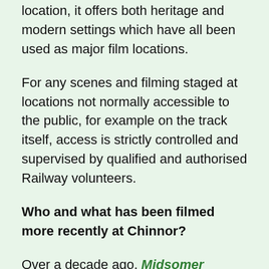location, it offers both heritage and modern settings which have all been used as major film locations.
For any scenes and filming staged at locations not normally accessible to the public, for example on the track itself, access is strictly controlled and supervised by qualified and authorised Railway volunteers.
Who and what has been filmed more recently at Chinnor?
Over a decade ago, Midsomer Murders and The Train Pirates starring Brain Blessed have been filmed at the Railway. In more recent times, filming sessions have also included:
2021 Grantchester - ITV Period Drama set in the 1950s with Tom Brittney (Outlander) alongside Robson Green (Soldier Soldier) as DI Geordie Keating. The latest series has concluded on TV – airing in April 2020.